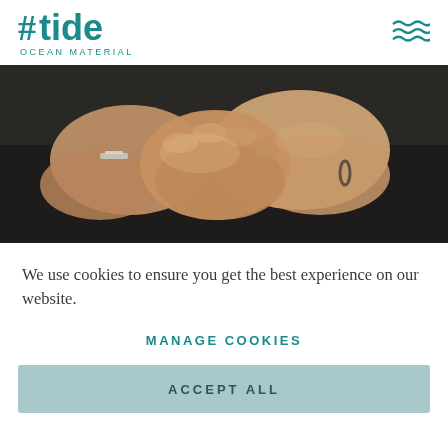#tide OCEAN MATERIAL
[Figure (photo): Two hands clasped together in a handshake, one person wearing a bracelet, dark background suggesting outdoors or water]
We use cookies to ensure you get the best experience on our website.
MANAGE COOKIES
ACCEPT ALL